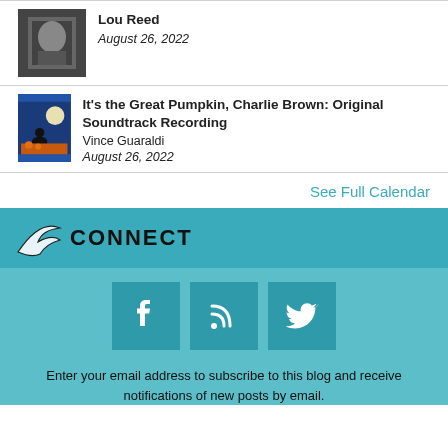[Figure (photo): Album cover for Lou Reed]
Lou Reed
August 26, 2022
[Figure (photo): Album cover for It's the Great Pumpkin, Charlie Brown]
It's the Great Pumpkin, Charlie Brown: Original Soundtrack Recording
Vince Guaraldi
August 26, 2022
See Full Calendar
CONNECT
[Figure (logo): Facebook icon]
[Figure (logo): RSS feed icon]
[Figure (logo): Twitter icon]
Enter your email address to subscribe to this blog and receive notifications of new posts by email.